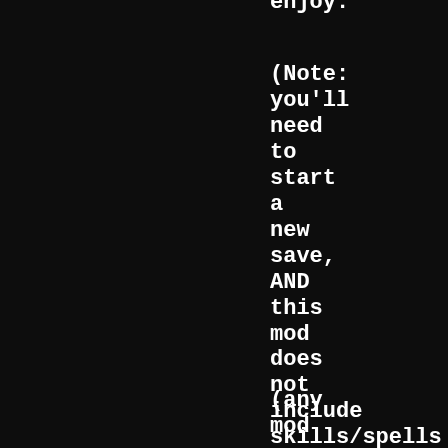enjoy:
(Note: you'll need to start a new save, AND this mod does not include skills/spells for the DLCs!)
(any mod